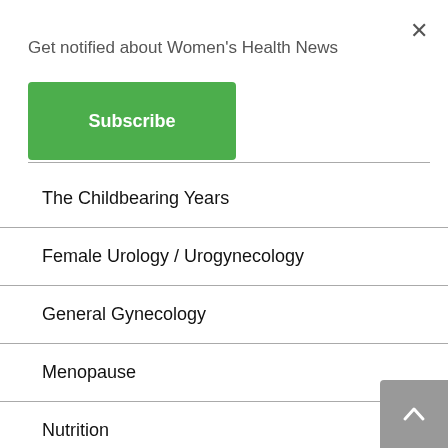Get notified about Women's Health News
Subscribe
The Childbearing Years
Female Urology / Urogynecology
General Gynecology
Menopause
Nutrition
Pelvic Floor
Pelvic Infections